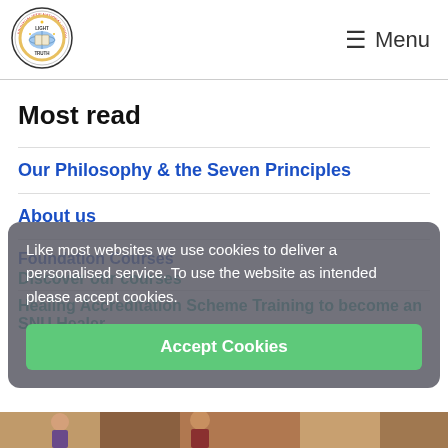[Figure (logo): Spiritualists' National Union circular logo with text LIGHT, NATURE, TRUTH around a central book/globe image]
☰ Menu
Most read
Our Philosophy & the Seven Principles
About us
Foundation Courses
Discover our courses
Healing Accreditation Scheme Training to become an SNU Healer
Like most websites we use cookies to deliver a personalised service. To use the website as intended please accept cookies.
Accept Cookies
[Figure (photo): Partial photo strip at bottom of page showing people]